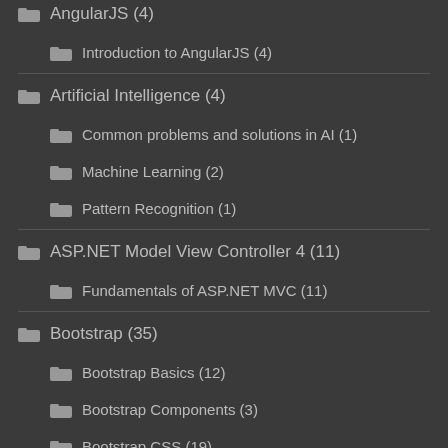AngularJS (4)
Introduction to AngularJS (4)
Artificial Intelligence (4)
Common problems and solutions in AI (1)
Machine Learning (2)
Pattern Recognition (1)
ASP.NET Model View Controller 4 (11)
Fundamentals of ASP.NET MVC (11)
Bootstrap (35)
Bootstrap Basics (12)
Bootstrap Components (3)
Bootstrap CSS (19)